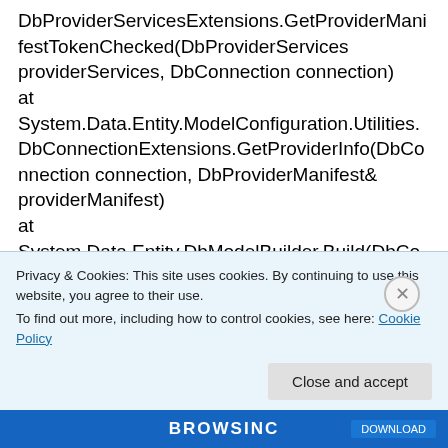DbProviderServicesExtensions.GetProviderManifestTokenChecked(DbProviderServices providerServices, DbConnection connection)
at
System.Data.Entity.ModelConfiguration.Utilities.DbConnectionExtensions.GetProviderInfo(DbConnection connection, DbProviderManifest& providerManifest)
at
System.Data.Entity.DbModelBuilder.Build(DbConnection connection)
Privacy & Cookies: This site uses cookies. By continuing to use this website, you agree to their use.
To find out more, including how to control cookies, see here: Cookie Policy